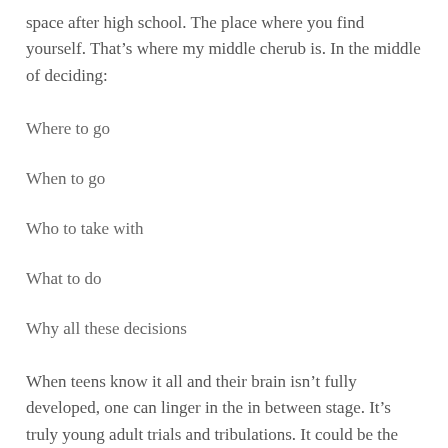space after high school. The place where you find yourself. That’s where my middle cherub is. In the middle of deciding:
Where to go
When to go
Who to take with
What to do
Why all these decisions
When teens know it all and their brain isn’t fully developed, one can linger in the in between stage. It’s truly young adult trials and tribulations. It could be the changing of your major 20x in college. It could be moving apartments over and over